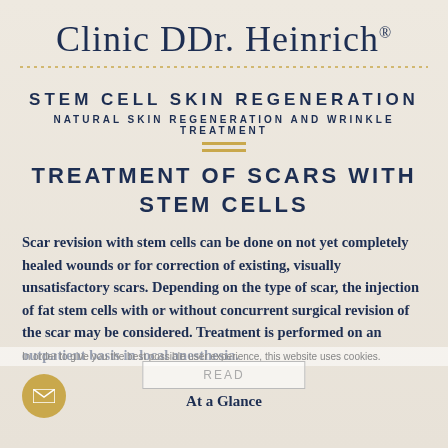Clinic DDr. Heinrich®
STEM CELL SKIN REGENERATION
NATURAL SKIN REGENERATION AND WRINKLE TREATMENT
TREATMENT OF SCARS WITH STEM CELLS
Scar revision with stem cells can be done on not yet completely healed wounds or for correction of existing, visually unsatisfactory scars. Depending on the type of scar, the injection of fat stem cells with or without concurrent surgical revision of the scar may be considered. Treatment is performed on an outpatient basis in local anesthesia.
In order to give you the best possible user experience, this website uses cookies.
READ
At a Glance